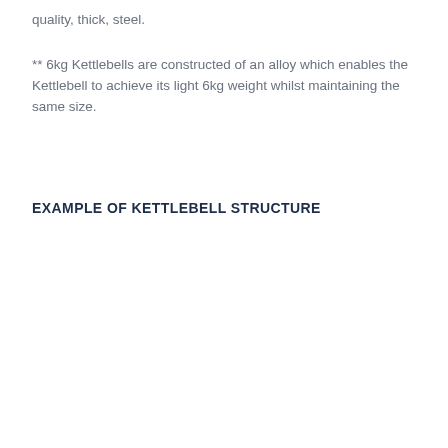quality, thick, steel.
** 6kg Kettlebells are constructed of an alloy which enables the Kettlebell to achieve its light 6kg weight whilst maintaining the same size.
EXAMPLE OF KETTLEBELL STRUCTURE